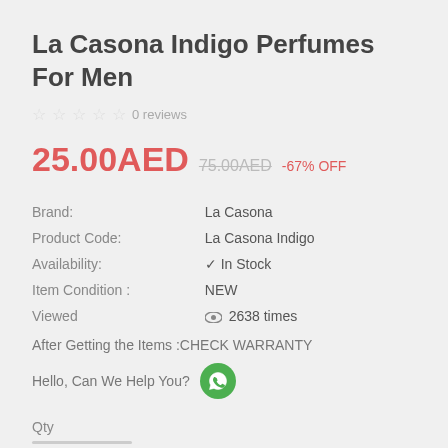La Casona Indigo Perfumes For Men
★★★★★ 0 reviews
25.00AED  75.00AED  -67% OFF
| Brand: | La Casona |
| Product Code: | La Casona Indigo |
| Availability: | ✔ In Stock |
| Item Condition : | NEW |
| Viewed | 👁 2638 times |
After Getting the Items :CHECK WARRANTY
Hello, Can We Help You?
Qty